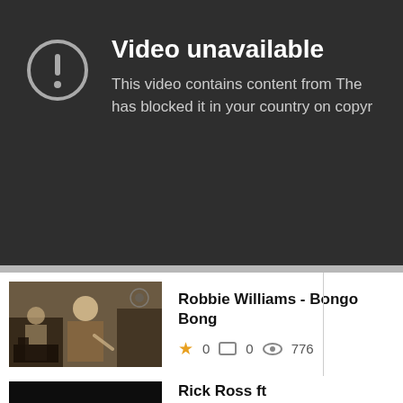[Figure (screenshot): Dark overlay YouTube error screen showing 'Video unavailable' with a circle exclamation icon and text: 'This video contains content from The [truncated] has blocked it in your country on copyr[ight grounds - truncated]']
Video unavailable
This video contains content from The [organization] has blocked it in your country on copyr[ight grounds]
[Figure (screenshot): White content area showing a video list item. Thumbnail: sepia-toned photo of person in studio. Title: Robbie Williams - Bongo Bong. Stats: star 0, comment 0, views 776.]
Robbie Williams - Bongo Bong
0   0   776
Rick Ross ft